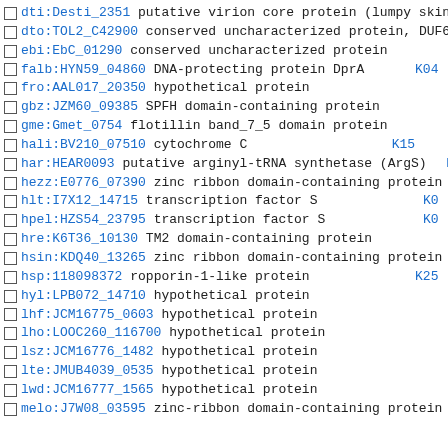dti:Desti_2351 putative virion core protein (lumpy skin
dto:TOL2_C42900 conserved uncharacterized protein, DUF6 K0...
ebi:EbC_01290 conserved uncharacterized protein
falb:HYN59_04860 DNA-protecting protein DprA K04...
fro:AAL017_20350 hypothetical protein
gbz:JZM60_09385 SPFH domain-containing protein
gme:Gmet_0754 flotillin band_7_5 domain protein
hali:BV210_07510 cytochrome C K15...
har:HEAR0093 putative arginyl-tRNA synthetase (ArgS) K0...
hezz:E0776_07390 zinc ribbon domain-containing protein
hlt:I7X12_14715 transcription factor S K0...
hpel:HZS54_23795 transcription factor S K0...
hre:K6T36_10130 TM2 domain-containing protein
hsin:KDQ40_13265 zinc ribbon domain-containing protein
hsp:118098372 ropporin-1-like protein K25...
hyl:LPB072_14710 hypothetical protein
lhf:JCM16775_0603 hypothetical protein
lho:LOOC260_116700 hypothetical protein
lsz:JCM16776_1482 hypothetical protein
lte:JMUB4039_0535 hypothetical protein
lwd:JCM16777_1565 hypothetical protein
melo:J7W08_03595 zinc-ribbon domain-containing protein